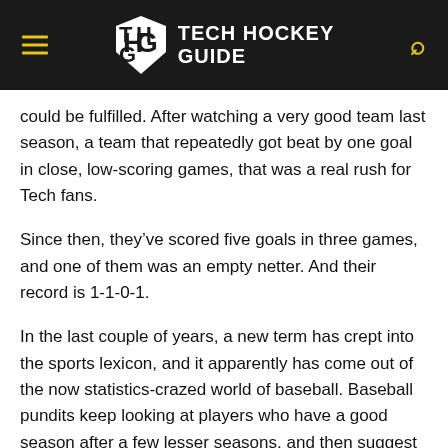TECH HOCKEY GUIDE
could be fulfilled. After watching a very good team last season, a team that repeatedly got beat by one goal in close, low-scoring games, that was a real rush for Tech fans.
Since then, they've scored five goals in three games, and one of them was an empty netter. And their record is 1-1-0-1.
In the last couple of years, a new term has crept into the sports lexicon, and it apparently has come out of the now statistics-crazed world of baseball. Baseball pundits keep looking at players who have a good season after a few lesser seasons, and then suggest that the player will “regress to the mean” in the following year.
What they really mean is that one good year is just an